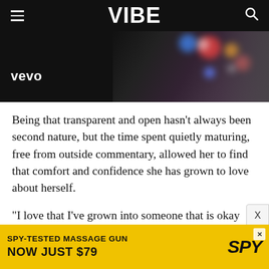VIBE
[Figure (photo): Vevo branded video thumbnail showing a dark background with blurred bokeh lights in colors including blue, red, orange, and white, with a partial silhouette of a person on the right side. The Vevo logo appears in white in the lower left.]
Being that transparent and open hasn’t always been second nature, but the time spent quietly maturing, free from outside commentary, allowed her to find that comfort and confidence she has grown to love about herself.
“I love that I’ve grown into someone that is okay with being human,” she says proudly after some thought. “I love that I’ve grown into someone that i…
[Figure (infographic): Advertisement banner with yellow background. Text reads: SPY-TESTED MASSAGE GUN NOW JUST $79. SPY logo in black. Close button marked X in top right.]